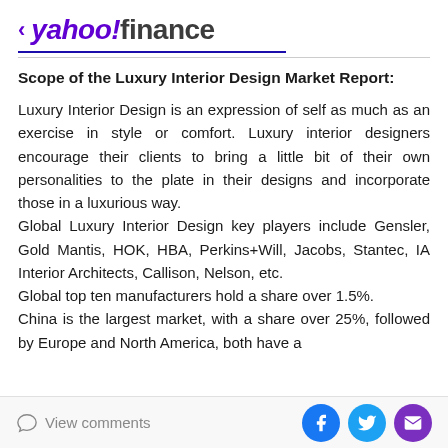< yahoo!finance
Scope of the Luxury Interior Design Market Report:
Luxury Interior Design is an expression of self as much as an exercise in style or comfort. Luxury interior designers encourage their clients to bring a little bit of their own personalities to the plate in their designs and incorporate those in a luxurious way.
Global Luxury Interior Design key players include Gensler, Gold Mantis, HOK, HBA, Perkins+Will, Jacobs, Stantec, IA Interior Architects, Callison, Nelson, etc.
Global top ten manufacturers hold a share over 1.5%.
China is the largest market, with a share over 25%, followed by Europe and North America, both have a
View comments